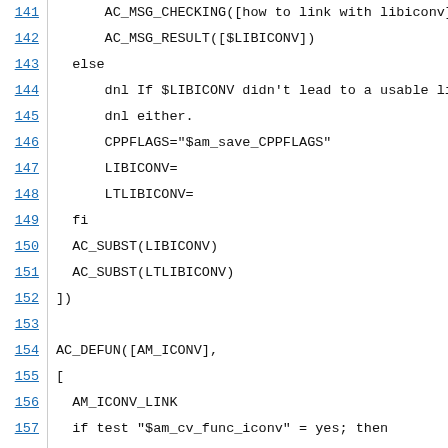141   AC_MSG_CHECKING([how to link with libiconv])
142   AC_MSG_RESULT([$LIBICONV])
143 else
144     dnl If $LIBICONV didn't lead to a usable librar
145     dnl either.
146     CPPFLAGS="$am_save_CPPFLAGS"
147     LIBICONV=
148     LTLIBICONV=
149   fi
150   AC_SUBST(LIBICONV)
151   AC_SUBST(LTLIBICONV)
152 ])
153
154 AC_DEFUN([AM_ICONV],
155 [
156   AM_ICONV_LINK
157   if test "$am_cv_func_iconv" = yes; then
158     AC_MSG_CHECKING([for iconv declaration])
159     AC_CACHE_VAL(am_cv_proto_iconv, [
160       AC_TRY_COMPILE([
161 #include <stdlib.h>
162 #include <iconv.h>
163 extern